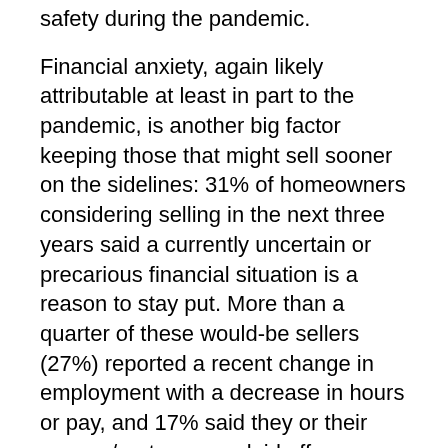safety during the pandemic.
Financial anxiety, again likely attributable at least in part to the pandemic, is another big factor keeping those that might sell sooner on the sidelines: 31% of homeowners considering selling in the next three years said a currently uncertain or precarious financial situation is a reason to stay put. More than a quarter of these would-be sellers (27%) reported a recent change in employment with a decrease in hours or pay, and 17% said they or their spouse/partner were laid off or involuntarily unemployed. Among sellers who may be considering putting their home on the market in the next three years, 6% said they are currently taking advantage of mortgage forbearance programs that allow them to delay or defer monthly mortgage